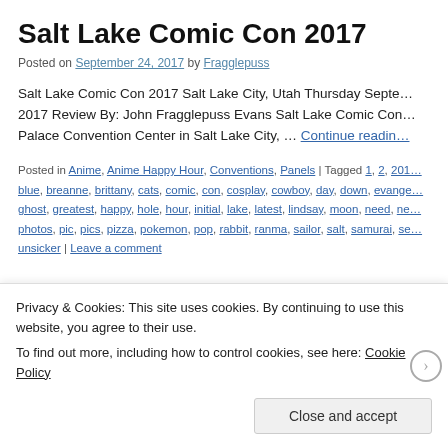Salt Lake Comic Con 2017
Posted on September 24, 2017 by Fragglepuss
Salt Lake Comic Con 2017 Salt Lake City, Utah Thursday Septe… 2017 Review By: John Fragglepuss Evans Salt Lake Comic Con… Palace Convention Center in Salt Lake City, … Continue reading
Posted in Anime, Anime Happy Hour, Conventions, Panels | Tagged 1, 2, 201… blue, breanne, brittany, cats, comic, con, cosplay, cowboy, day, down, evange… ghost, greatest, happy, hole, hour, initial, lake, latest, lindsay, moon, need, ne… photos, pic, pics, pizza, pokemon, pop, rabbit, ranma, sailor, salt, samurai, se… unsicker | Leave a comment
Salt Lake Gaming Con 2017
Privacy & Cookies: This site uses cookies. By continuing to use this website, you agree to their use.
To find out more, including how to control cookies, see here: Cookie Policy
Close and accept